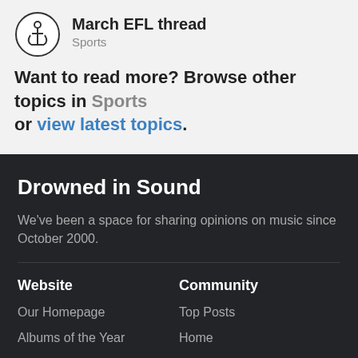March EFL thread · Sports
Want to read more? Browse other topics in Sports or view latest topics.
Drowned in Sound
We've been a space for sharing opinions on music since October 2000.
Website
Our Homepage
Albums of the Year
Recommended Records
Radio Show
Podcast
Community
Top Posts
Home